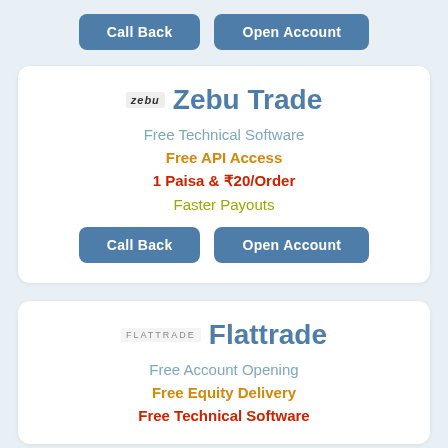[Figure (other): Two buttons: Call Back and Open Account]
[Figure (infographic): Zebu Trade broker card with features: Free Technical Software, Free API Access, 1 Paisa & ₹20/Order, Faster Payouts, and Call Back / Open Account buttons]
[Figure (infographic): Flattrade broker card (partial) with features: Free Account Opening, Free Equity Delivery, Free Technical Software (partial)]